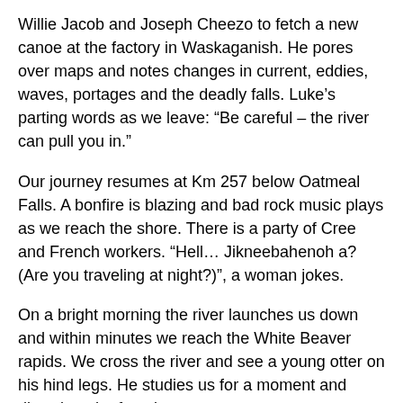Willie Jacob and Joseph Cheezo to fetch a new canoe at the factory in Waskaganish. He pores over maps and notes changes in current, eddies, waves, portages and the deadly falls. Luke’s parting words as we leave: “Be careful – the river can pull you in.”
Our journey resumes at Km 257 below Oatmeal Falls. A bonfire is blazing and bad rock music plays as we reach the shore. There is a party of Cree and French workers. “Hell… Jikneebahenoh a? (Are you traveling at night?)”, a woman jokes.
On a bright morning the river launches us down and within minutes we reach the White Beaver rapids. We cross the river and see a young otter on his hind legs. He studies us for a moment and dives into the fast river.
When the wind permits, “The Fours”, a set of four